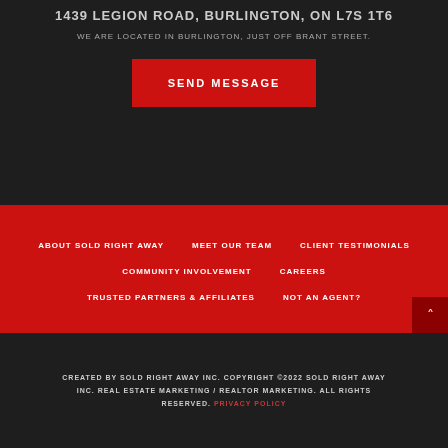1439 LEGION ROAD, BURLINGTON, ON L7S 1T6
WE ARE LOCATED IN BURLINGTON, JUST OFF BRANT STREET.
SEND MESSAGE
ABOUT SOLD RIGHT AWAY
MEET OUR TEAM
CLIENT TESTIMONIALS
COMMUNITY INVOLVEMENT
CAREERS
TRUSTED PARTNERS & AFFILIATES
NOT AN AGENT?
CREATED BY SOLD RIGHT AWAY INC. COPYRIGHT ©2022 SOLD RIGHT AWAY INC. REAL ESTATE MARKETING / REALTOR MARKETING. ALL RIGHTS RESERVED. PRIVACY POLICY